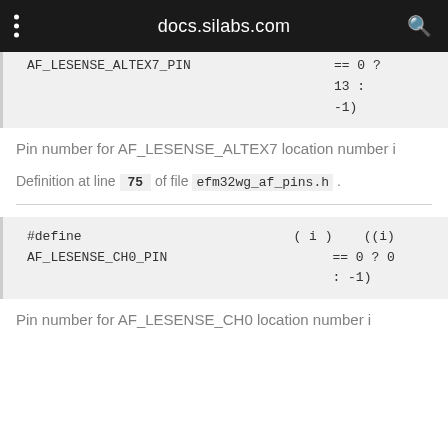docs.silabs.com
AF_LESENSE_ALTEX7_PIN    == 0 ?
                        13 :
                        -1)
Pin number for AF_LESENSE_ALTEX7 location number i
Definition at line 75 of file efm32wg_af_pins.h .
#define AF_LESENSE_CH0_PIN ( i ) ((i)
                          == 0 ? 0
                          : -1)
Pin number for AF_LESENSE_CH0 location number i